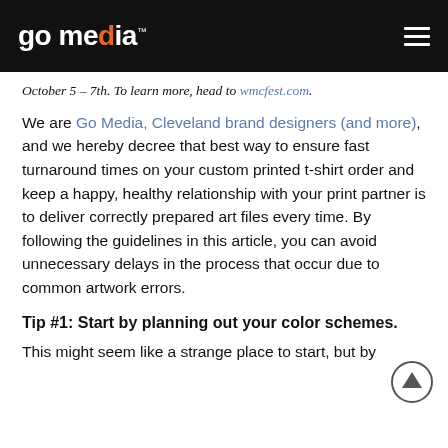go media™
October 5 – 7th. To learn more, head to wmcfest.com.
We are Go Media, Cleveland brand designers (and more), and we hereby decree that best way to ensure fast turnaround times on your custom printed t-shirt order and keep a happy, healthy relationship with your print partner is to deliver correctly prepared art files every time. By following the guidelines in this article, you can avoid unnecessary delays in the process that occur due to common artwork errors.
Tip #1: Start by planning out your color schemes.
This might seem like a strange place to start, but by